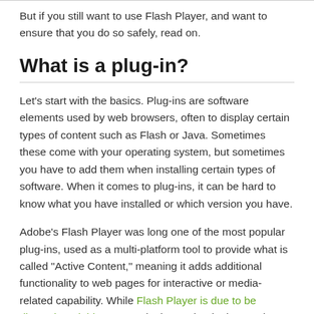But if you still want to use Flash Player, and want to ensure that you do so safely, read on.
What is a plug-in?
Let’s start with the basics. Plug-ins are software elements used by web browsers, often to display certain types of content such as Flash or Java. Sometimes these come with your operating system, but sometimes you have to add them when installing certain types of software. When it comes to plug-ins, it can be hard to know what you have installed or which version you have.
Adobe’s Flash Player was long one of the most popular plug-ins, used as a multi-platform tool to provide what is called “Active Content,” meaning it adds additional functionality to web pages for interactive or media-related capability. While Flash Player is due to be discontinued this year, and other technologies, such as HTML5, are used to provide the same